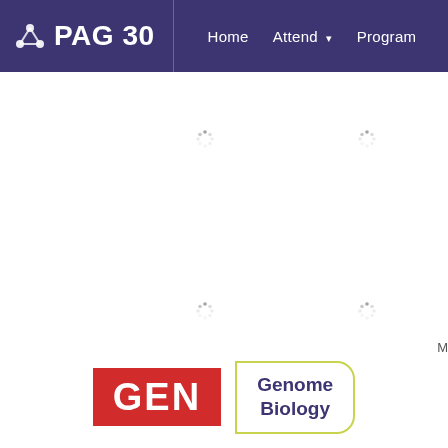PAG 30  |  Home  Attend  Program
[Figure (screenshot): PAG 30 conference website header with dark purple navigation bar showing logo, Home, Attend, and Program links. Main content area is white with spinner/loading icons. Bottom shows GEN logo and Genome Biology logo.]
[Figure (logo): GEN logo - red background with white bold text 'GEN']
[Figure (logo): Genome Biology logo - white background with yellow-green border and dark blue text 'Genome Biology']